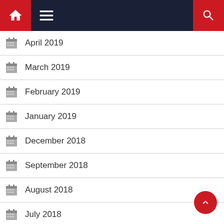Navigation bar with home, menu, and search icons
April 2019
March 2019
February 2019
January 2019
December 2018
September 2018
August 2018
July 2018
June 2018
May 2018